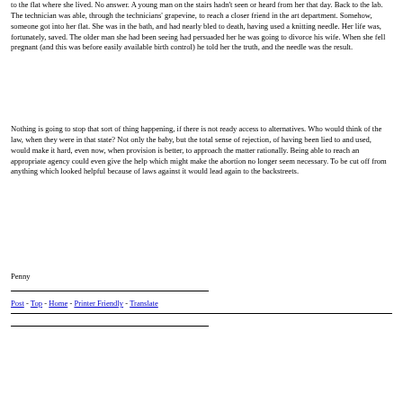to the flat where she lived. No answer. A young man on the stairs hadn't seen or heard from her that day. Back to the lab. The technician was able, through the technicians' grapevine, to reach a closer friend in the art department. Somehow, someone got into her flat. She was in the bath, and had nearly bled to death, having used a knitting needle. Her life was, fortunately, saved. The older man she had been seeing had persuaded her he was going to divorce his wife. When she fell pregnant (and this was before easily available birth control) he told her the truth, and the needle was the result.
Nothing is going to stop that sort of thing happening, if there is not ready access to alternatives. Who would think of the law, when they were in that state? Not only the baby, but the total sense of rejection, of having been lied to and used, would make it hard, even now, when provision is better, to approach the matter rationally. Being able to reach an appropriate agency could even give the help which might make the abortion no longer seem necessary. To be cut off from anything which looked helpful because of laws against it would lead again to the backstreets.
Penny
Post - Top - Home - Printer Friendly - Translate